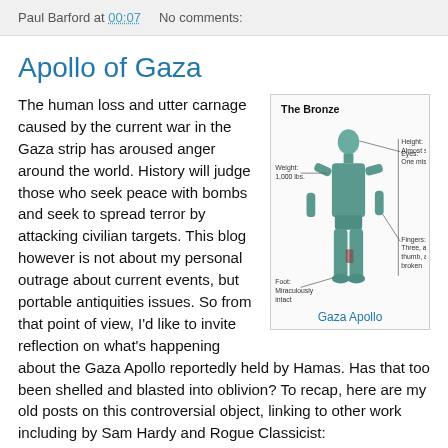Paul Barford at 00:07    No comments:
Apollo of Gaza
[Figure (illustration): Diagram of the Gaza Apollo bronze statue with annotations: The Bronze. Height: Almost six feet. Weight: 1,000 lbs. Eyes: One missing. Foot: Miraculously intact. Fingers: Three, and a thumb, are broken.]
Gaza Apollo
The human loss and utter carnage caused by the current war in the Gaza strip has aroused anger around the world. History will judge those who seek peace with bombs and seek to spread terror by attacking civilian targets. This blog however is not about my personal outrage about current events, but portable antiquities issues. So from that point of view, I'd like to invite reflection on what's happening about the Gaza Apollo reportedly held by Hamas. Has that too been shelled and blasted into oblivion? To recap, here are my old posts on this controversial object, linking to other work including by Sam Hardy and Rogue Classicist: